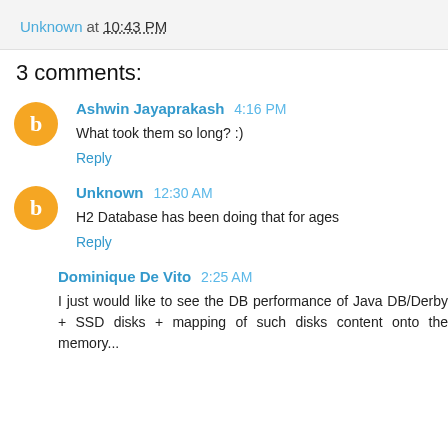Unknown at 10:43 PM
3 comments:
Ashwin Jayaprakash  4:16 PM
What took them so long? :)
Reply
Unknown  12:30 AM
H2 Database has been doing that for ages
Reply
Dominique De Vito  2:25 AM
I just would like to see the DB performance of Java DB/Derby + SSD disks + mapping of such disks content onto the memory...